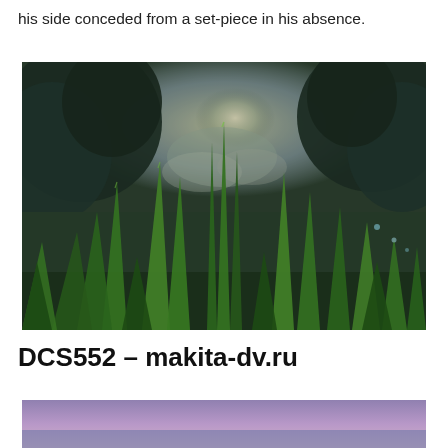his side conceded from a set-piece in his absence.
[Figure (photo): Low-angle close-up photo of green grass blades in the foreground with blurred trees and a bright cloudy sky in the background, with a dramatic teal/dark tone treatment.]
DCS552 - makita-dv.ru
[Figure (photo): Partial view of another photo at the bottom of the page, showing a purple/blue sky scene, cropped.]